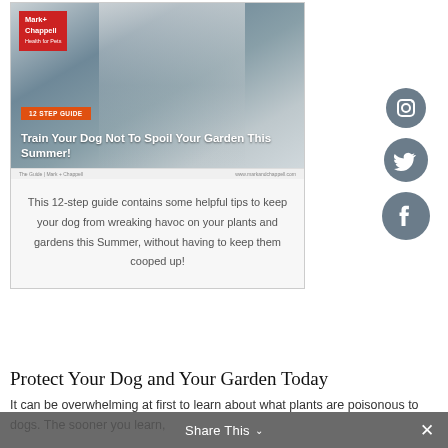[Figure (illustration): Brochure/guide card from Mark+Chappell Health for Pets showing a puppy photo with the text '12 Step Guide - Train Your Dog Not To Spoil Your Garden This Summer!']
This 12-step guide contains some helpful tips to keep your dog from wreaking havoc on your plants and gardens this Summer, without having to keep them cooped up!
[Figure (infographic): Three circular social media icons: Instagram (camera), Twitter (bird), and Facebook (f) arranged vertically on the right side.]
Protect Your Dog and Your Garden Today
It can be overwhelming at first to learn about what plants are poisonous to dogs. The sooner you learn, though, the sooner you can make your garden pet-friendly and ensure your dog stays safe.
Share This